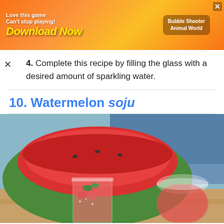[Figure (other): Advertisement banner: 'Love this game Can't stop playing! Download Now' with Bubble Shooter Animal World branding on orange background]
4. Complete this recipe by filling the glass with a desired amount of sparkling water.
10. Watermelon soju
[Figure (photo): Photo of a hollowed-out watermelon used as a bowl/punch bowl, with two glasses of pink/red watermelon soju drink with ice and mint garnish in front]